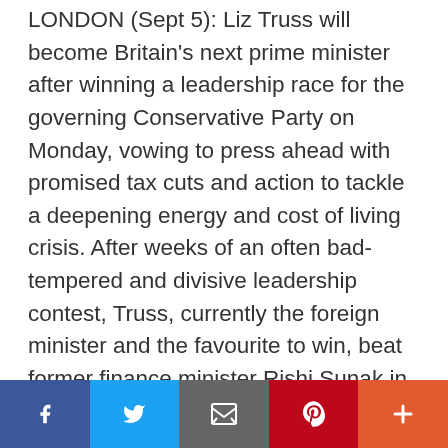LONDON (Sept 5): Liz Truss will become Britain's next prime minister after winning a leadership race for the governing Conservative Party on Monday, vowing to press ahead with promised tax cuts and action to tackle a deepening energy and cost of living crisis. After weeks of an often bad-tempered and divisive leadership contest, Truss, currently the foreign minister and the favourite to win, beat former finance minister Rishi Sunak in a vote of Conservative Party members, winning by 81,326 votes to 60,399. "I will deliver a bold plan to cut taxes and grow our economy," Truss said after the result was announced. "I will deliver on the energy crisis, dealing with people's energy bills, but also